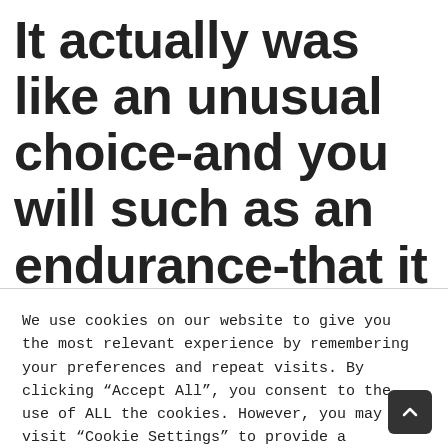It actually was like an unusual choice-and you will such as an endurance-that it pushed lgbt
We use cookies on our website to give you the most relevant experience by remembering your preferences and repeat visits. By clicking “Accept All”, you consent to the use of ALL the cookies. However, you may visit "Cookie Settings" to provide a controlled consent.